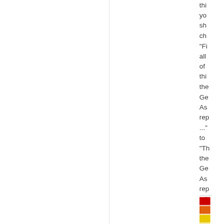thinking you should change "Fill all of this the General Assembly rep..." to "The the General Assembly rep..."
[Figure (illustration): Four colored rectangles stacked vertically: red, orange-red, yellow, and light yellow, forming a legend or color scale indicator.]